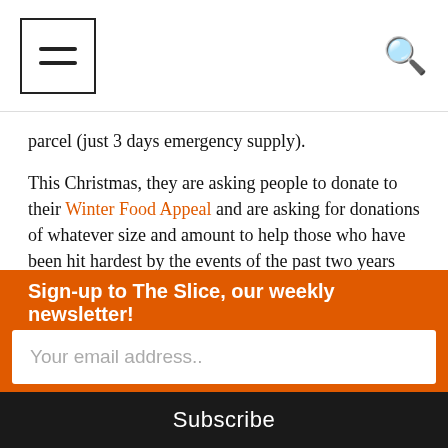≡ [menu] [search]
parcel (just 3 days emergency supply).
This Christmas, they are asking people to donate to their Winter Food Appeal and are asking for donations of whatever size and amount to help those who have been hit hardest by the events of the past two years and get them back onto their feet as we head into 2022.
Bow Foodbank, Bow Church (St Mary & Holy Tr Church), 230 Bow Road, London E3 3AH.
Sign-up to The Slice, our weekly newsletter!
Your email address..
Subscribe